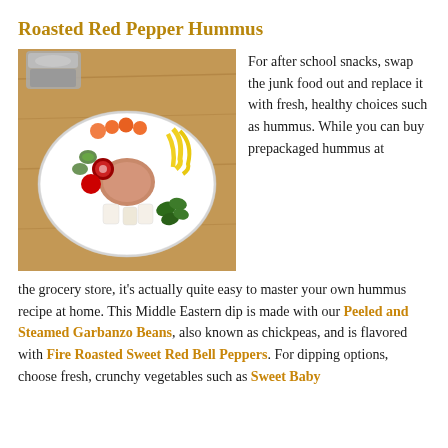Roasted Red Pepper Hummus
[Figure (photo): A white plate/bowl with hummus in the center surrounded by fresh vegetables including baby carrots, yellow bell pepper strips, cucumber slices, radishes, white onion chunks, and green herbs/spinach. A food processor is visible in the background. Set on a wooden surface.]
For after school snacks, swap the junk food out and replace it with fresh, healthy choices such as hummus. While you can buy prepackaged hummus at the grocery store, it’s actually quite easy to master your own hummus recipe at home. This Middle Eastern dip is made with our Peeled and Steamed Garbanzo Beans, also known as chickpeas, and is flavored with Fire Roasted Sweet Red Bell Peppers. For dipping options, choose fresh, crunchy vegetables such as Sweet Baby Carrots, limes, and Organic Sugar Peppers.